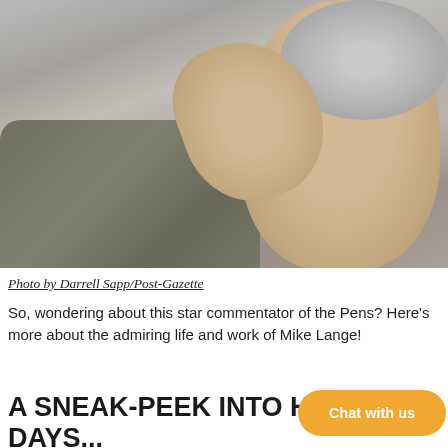[Figure (photo): An older man with gray hair in a thoughtful pose, hand raised to chin, wearing an olive/tan jacket. Photo taken at an indoor event with blurred background.]
Photo by Darrell Sapp/Post-Gazette
So, wondering about this star commentator of the Pens? Here's more about the admiring life and work of Mike Lange!
A SNEAK-PEEK INTO H[IS EARLY] DAYS...